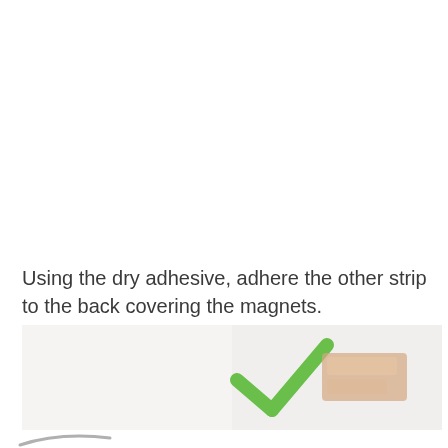Using the dry adhesive, adhere the other strip to the back covering the magnets.
[Figure (photo): Photo showing a product from the back with a green checkmark visible, placed on a light gray/white background. Partial product image cut off at bottom.]